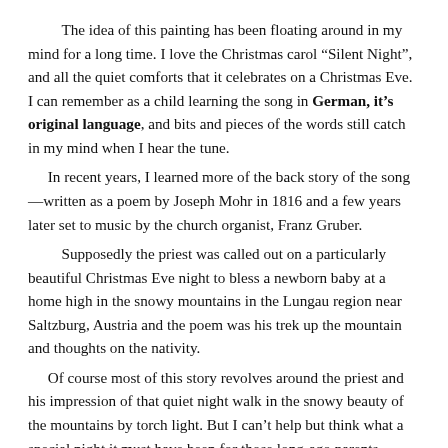The idea of this painting has been floating around in my mind for a long time. I love the Christmas carol “Silent Night”, and all the quiet comforts that it celebrates on a Christmas Eve. I can remember as a child learning the song in German, it’s original language, and bits and pieces of the words still catch in my mind when I hear the tune.

In recent years, I learned more of the back story of the song—written as a poem by Joseph Mohr in 1816 and a few years later set to music by the church organist, Franz Gruber.

Supposedly the priest was called out on a particularly beautiful Christmas Eve night to bless a newborn baby at a home high in the snowy mountains in the Lungau region near Saltzburg, Austria and the poem was his trek up the mountain and thoughts on the nativity.

Of course most of this story revolves around the priest and his impression of that quiet night walk in the snowy beauty of the mountains by torch light. But I can’t help but think what a special night it must have been for those long-ago parents, gazing at their new born child, nestled in their little house while the snow and stars